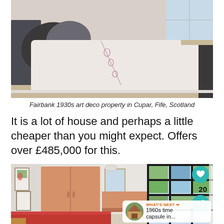[Figure (photo): Interior bedroom photo showing a double bed with white and floral bedding and dark pillows, against a light wall – Fairbank 1930s art deco property in Cupar, Fife, Scotland]
Fairbank 1930s art deco property in Cupar, Fife, Scotland
It is a lot of house and perhaps a little cheaper than you might expect. Offers over £485,000 for this.
[Figure (photo): Interior bedroom photo showing a room with salmon/peach built-in wardrobes, a red bedspread, framed pictures on the wall, and large panoramic windows overlooking a green landscape. UI overlay with heart/favourite button (count: 20), share button, and a 'What's Next' panel showing '1960s time capsule in...']